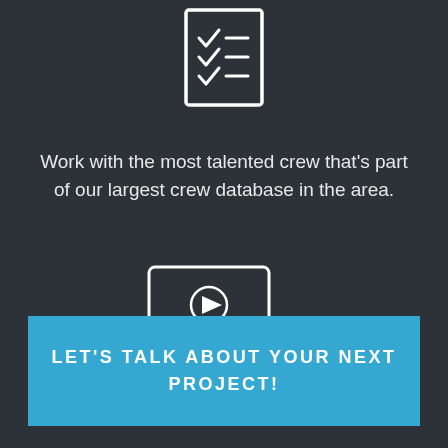[Figure (illustration): Checklist icon with checkmarks and lines, white outline on dark background]
Work with the most talented crew that's part of our largest crew database in the area.
[Figure (illustration): Video player/monitor icon with play button and equalizer/slider controls below, white outline on dark background]
Learn about our post-production services and how our editors shape the best story.
LET'S TALK ABOUT YOUR NEXT PROJECT!